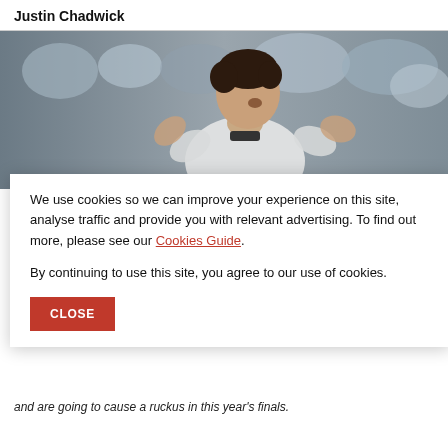Justin Chadwick
[Figure (photo): A footballer in a white/black strip, seen from the side, gesturing with hands raised, with a blurred crowd in the background.]
We use cookies so we can improve your experience on this site, analyse traffic and provide you with relevant advertising. To find out more, please see our Cookies Guide.
By continuing to use this site, you agree to our use of cookies.
CLOSE
and are going to cause a ruckus in this year's finals.